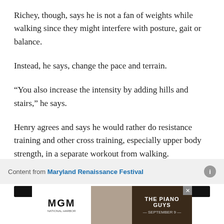Richey, though, says he is not a fan of weights while walking since they might interfere with posture, gait or balance.
Instead, he says, change the pace and terrain.
“You also increase the intensity by adding hills and stairs,” he says.
Henry agrees and says he would rather do resistance training and other cross training, especially upper body strength, in a separate workout from walking.
[Figure (other): Advertisement banner reading 'Content from Maryland Renaissance Festival' with an info icon, a black bar, and an MGM / The Piano Guys advertisement banner at the bottom.]